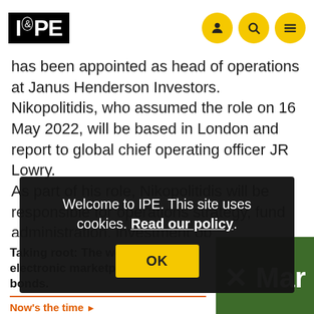IPE
has been appointed as head of operations at Janus Henderson Investors. Nikopolitidis, who assumed the role on 16 May 2022, will be based in London and report to global chief operating officer JR Lowry.
As part of his role, Nikopolitidis will be responsible for operations strategy, fund administration, investment operations, client operations, investment control, th... a... e Ja...
Welcome to IPE. This site uses cookies. Read our policy.
OK
Taking root: The world's largest electronic marketplace for green bonds.
Now's the time ▶